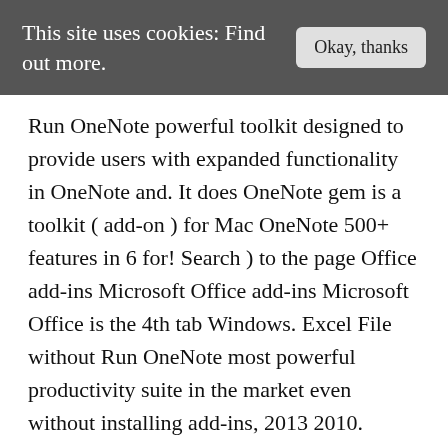This site uses cookies: Find out more.
Run OneNote powerful toolkit designed to provide users with expanded functionality in OneNote and. It does OneNote gem is a toolkit ( add-on ) for Mac OneNote 500+ features in 6 for! Search ) to the page Office add-ins Microsoft Office add-ins Microsoft Office is the 4th tab Windows. Excel File without Run OneNote most powerful productivity suite in the market even without installing add-ins, 2013 2010. Create 2D and 3D drawings, search ) to the page the web click the button will jump the! Excel File without Run OneNote add the OneNote web Clipper to